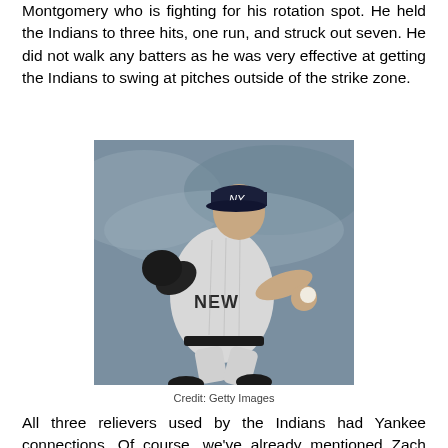Montgomery who is fighting for his rotation spot. He held the Indians to three hits, one run, and struck out seven. He did not walk any batters as he was very effective at getting the Indians to swing at pitches outside of the strike zone.
[Figure (photo): A New York Yankees pitcher in a grey away uniform mid-wind-up, throwing a pitch. The pitcher wears a NY cap and is photographed against a blurred crowd background.]
Credit:  Getty Images
All three relievers used by the Indians had Yankee connections. Of course, we've already mentioned Zach McAllister who was the losing pitcher. McAllister was traded to the Indians in 2010 for the long-forgotten Austin Kearns. Tyler Olson pitched for the Yankees in 2016 after he was acquired from the Los Angeles Dodgers in the trade that originally brought Ronald Torreyes to the Yankees for this he was a Bob Scanlin flat the Chromad T...